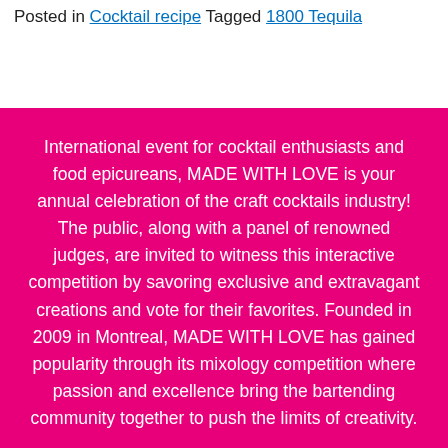Posted in Cocktail recipe Tagged 1800 Tequila
International event for cocktail enthusiasts and food epicureans, MADE WITH LOVE is your annual celebration of the craft cocktails industry! The public, along with a panel of renowned judges, are invited to witness this interactive competition by savoring exclusive and extravagant creations and vote for their favorites. Founded in 2009 in Montreal, MADE WITH LOVE has gained popularity through its mixology competition where passion and excellence bring the bartending community together to push the limits of creativity.